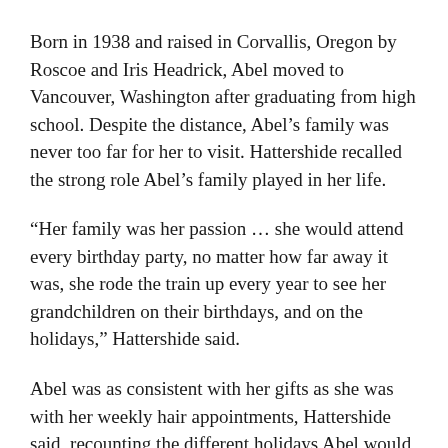Born in 1938 and raised in Corvallis, Oregon by Roscoe and Iris Headrick, Abel moved to Vancouver, Washington after graduating from high school. Despite the distance, Abel’s family was never too far for her to visit. Hattershide recalled the strong role Abel’s family played in her life.
“Her family was her passion … she would attend every birthday party, no matter how far away it was, she rode the train up every year to see her grandchildren on their birthdays, and on the holidays,” Hattershide said.
Abel was as consistent with her gifts as she was with her weekly hair appointments, Hattershide said, recounting the different holidays Abel would mail her family presents, down to St. Patrick’s day.
Hattershide said that Abel was dedicated to the college. “She ran this department for 20 years. She was well-liked